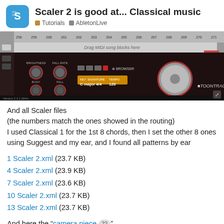Scaler 2 is good at... Classical music | Tutorials | AbletonLive
[Figure (screenshot): Screenshot of Toontrack EZdrummer or similar DAW plugin showing MIDI drag area, knobs for brightness, fall, body, fall rate controls, transport buttons, key C major, time signature 4/4, tempo 120.]
And all Scaler files
(the numbers match the ones showed in the routing)
I used Classical 1 for the 1st 8 chords, then I set the other 8 ones using Suggest and my ear, and I found all patterns by ear
1 Scaler 2.xml (23.7 KB)
4 Scaler 2.xml (23.9 KB)
7 Scaler 2.xml (23.6 KB)
10 Scaler 2.xml (23.7 KB)
13 Scaler 2.xml (23.7 KB)
And here the “camera piece 22”
P.S. I don’t like the result, very boring in m…